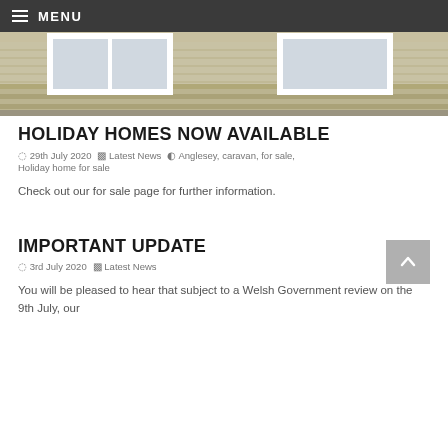MENU
[Figure (photo): Exterior photo of a holiday home/caravan showing windows and horizontal siding]
HOLIDAY HOMES NOW AVAILABLE
29th July 2020   Latest News   Anglesey, caravan, for sale, Holiday home for sale
Check out our for sale page for further information.
IMPORTANT UPDATE
3rd July 2020   Latest News
You will be pleased to hear that subject to a Welsh Government review on the 9th July, our